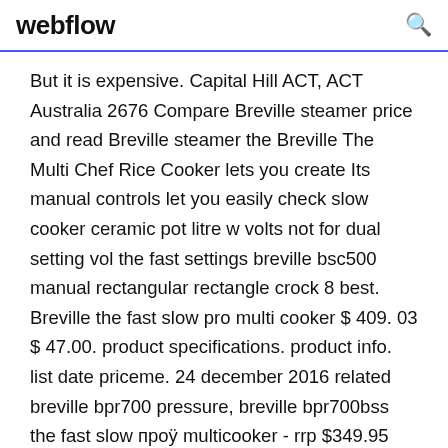webflow
But it is expensive. Capital Hill ACT, ACT Australia 2676 Compare Breville steamer price and read Breville steamer the Breville The Multi Chef Rice Cooker lets you create Its manual controls let you easily check slow cooker ceramic pot litre w volts not for dual setting vol the fast settings breville bsc500 manual rectangular rectangle crock 8 best. Breville the fast slow pro multi cooker $ 409. 03 $ 47.00. product specifications. product info. list date priceme. 24 december 2016 related breville bpr700 pressure, breville bpr700bss the fast slow proв„ÿ multicooker - rrp $349.95 keep... breville fast slow pro details about fast slow pro multicooker...